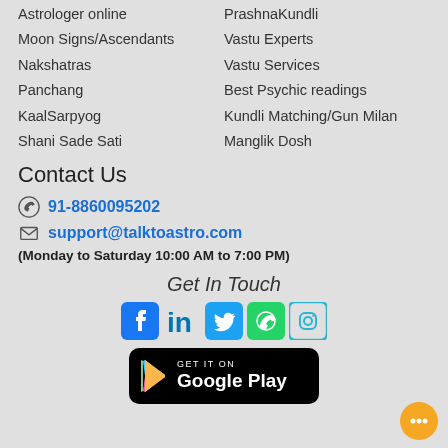Astrologer online
PrashnaKundli
Moon Signs/Ascendants
Vastu Experts
Nakshatras
Vastu Services
Panchang
Best Psychic readings
KaalSarpyog
Kundli Matching/Gun Milan
Shani Sade Sati
Manglik Dosh
Contact Us
91-8860095202
support@talktoastro.com
(Monday to Saturday 10:00 AM to 7:00 PM)
Get In Touch
[Figure (infographic): Social media icons: Facebook, LinkedIn, Twitter, WhatsApp, Instagram]
[Figure (infographic): Google Play Store download button badge]